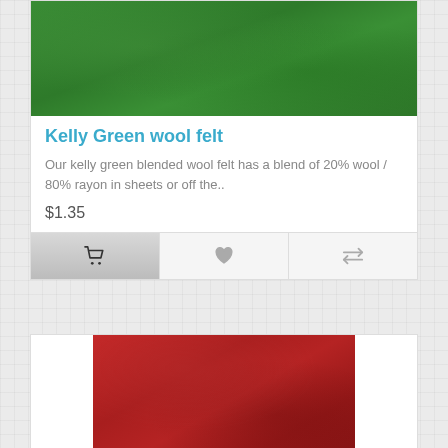[Figure (photo): Kelly green wool felt fabric texture, solid green color]
Kelly Green wool felt
Our kelly green blended wool felt has a blend of 20% wool / 80% rayon in sheets or off the..
$1.35
[Figure (photo): Red wool felt fabric texture, deep red/crimson color]